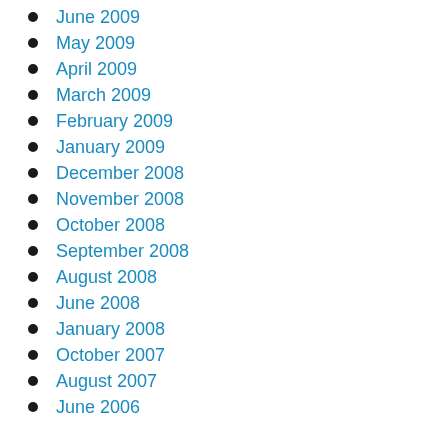June 2009
May 2009
April 2009
March 2009
February 2009
January 2009
December 2008
November 2008
October 2008
September 2008
August 2008
June 2008
January 2008
October 2007
August 2007
June 2006